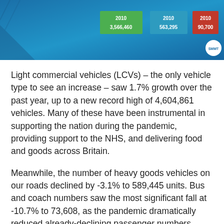[Figure (infographic): SMMT infographic banner showing vehicle statistics for 2010: 3,566,460 vehicles (green box), 563,295 vehicles (blue/teal box), and 90,700 vehicles (red box), with vehicle illustrations on a blue background with SMMT logo]
Light commercial vehicles (LCVs) – the only vehicle type to see an increase – saw 1.7% growth over the past year, up to a new record high of 4,604,861 vehicles. Many of these have been instrumental in supporting the nation during the pandemic, providing support to the NHS, and delivering food and goods across Britain.
Meanwhile, the number of heavy goods vehicles on our roads declined by -3.1% to 589,445 units. Bus and coach numbers saw the most significant fall at -10.7% to 73,608, as the pandemic dramatically reduced already-declining passenger numbers causing fleet operators to pause new fleet purchases and take unused vehicles off the road.
With showrooms closed for large periods of 2020 due to lockdowns, fewer new cars were registered, resulting in the